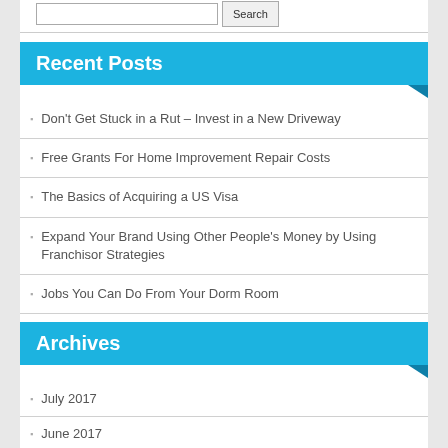Recent Posts
Don't Get Stuck in a Rut – Invest in a New Driveway
Free Grants For Home Improvement Repair Costs
The Basics of Acquiring a US Visa
Expand Your Brand Using Other People's Money by Using Franchisor Strategies
Jobs You Can Do From Your Dorm Room
Archives
July 2017
June 2017
May 2017